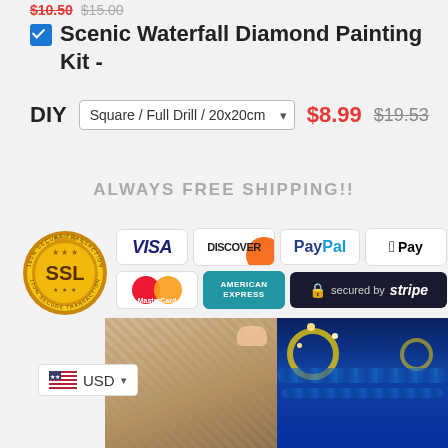$10.50 $15.00
Scenic Waterfall Diamond Painting Kit - DIY [Square / Full Drill / 20x20cm] $8.99 $19.53
ALWAYS FREE SHIPPING!!
[Figure (illustration): Payment methods display showing SSL secure badge, VISA, Discover, PayPal, Apple Pay, MasterCard, American Express, and Stripe secure payment logos]
[Figure (photo): Bottom portion of product images showing diamond painting process and Starry Night style completed painting]
USD ▾